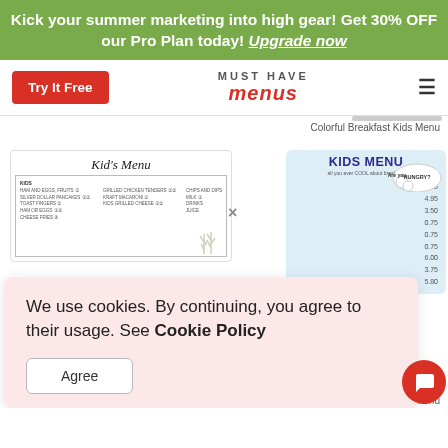Kick your summer marketing into high gear! Get 30% OFF our Pro Plan today! Upgrade now
Try It Free
MUST HAVE menus
Colorful Breakfast Kids Menu
[Figure (screenshot): Kid's Menu template thumbnail showing menu columns with small food items]
[Figure (screenshot): KIDS MENU card with light blue background, cloud bubble saying Are you HUNGRY?, and price list on right side]
We use cookies. By continuing, you agree to their usage. See Cookie Policy
Agree
Dine In Kids Menu